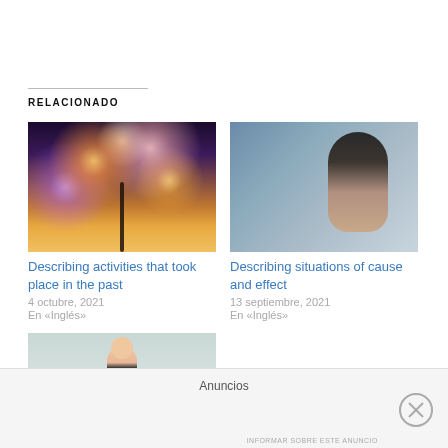RELACIONADO
[Figure (photo): Person silhouetted against fireworks display in night sky with orange and purple tones]
Describing activities that took place in the past
4 octubre, 2021
En «Inglés»
[Figure (photo): Young woman with long dark hair in profile view against blue-toned background]
Describing situations of cause and effect
13 septiembre, 2021
En «Inglés»
[Figure (photo): Young man partially visible from top of frame against light grey-green background]
Anuncios
INFORMAR SOBRE ESTE ANUNCIO